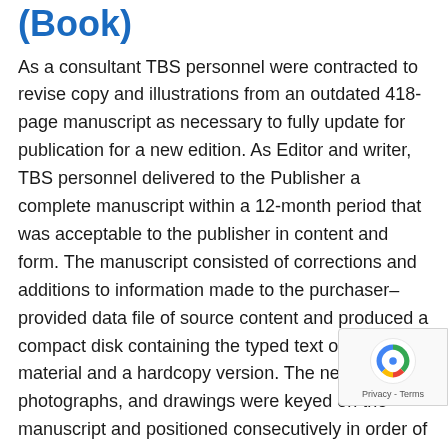(Book)
As a consultant TBS personnel were contracted to revise copy and illustrations from an outdated 418-page manuscript as necessary to fully update for publication for a new edition. As Editor and writer, TBS personnel delivered to the Publisher a complete manuscript within a 12-month period that was acceptable to the publisher in content and form. The manuscript consisted of corrections and additions to information made to the purchaser–provided data file of source content and produced a compact disk containing the typed text of all new material and a hardcopy version. The new text, photographs, and drawings were keyed on the manuscript and positioned consecutively in order of their appearance. Captions were provided for all illustrations and were keyed according to the illustrations' locations in the Work. Manuscript pa[ges] were numbered (in pencil) in a single sequence a[nd] keyed appropriately in the margin where each photo o[r]